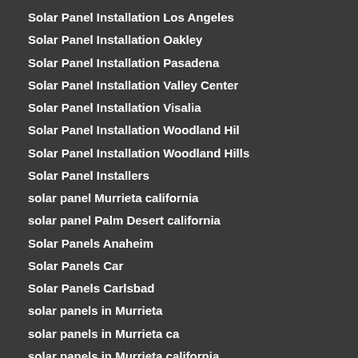Solar Panel Installation Los Angeles
Solar Panel Installation Oakley
Solar Panel Installation Pasadena
Solar Panel Installation Valley Center
Solar Panel Installation Visalia
Solar Panel Installation Woodland Hil
Solar Panel Installation Woodland Hills
Solar Panel Installers
solar panel Murrieta california
solar panel Palm Desert california
Solar Panels Anaheim
Solar Panels Car
Solar Panels Carlsbad
solar panels in Murrieta
solar panels in Murrieta ca
solar panels in Murrieta california